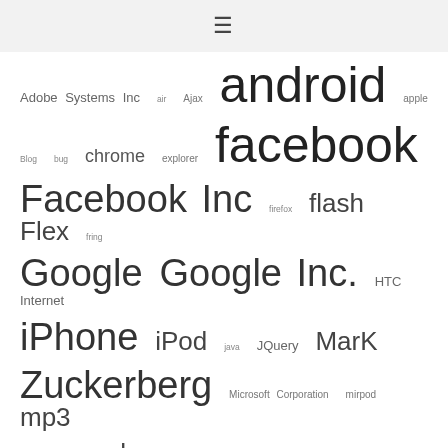≡
Adobe Systems Inc air Ajax android apple Blog bug chrome explorer facebook Facebook Inc firefox flash Flex fring Google Google Inc. HTC Internet iPhone iPod java JQuery MarK Zuckerberg Microsoft Corporation mirpod mp3 orange photos php player samsung sfr skype twitter Twitter Inc Téléphone mobile video Web